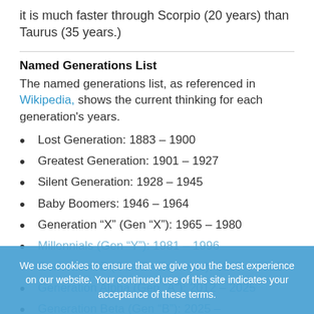it is much faster through Scorpio (20 years) than Taurus (35 years.)
Named Generations List
The named generations list, as referenced in Wikipedia, shows the current thinking for each generation's years.
Lost Generation: 1883 – 1900
Greatest Generation: 1901 – 1927
Silent Generation: 1928 – 1945
Baby Boomers: 1946 – 1964
Generation “X” (Gen “X”): 1965 – 1980
Millennials (Gen “Y”): 1981 – 1996
Generation Z (Gen Z - Zoomers): 1997 – 2011
Generation Alpha (Gen “A”): 2012 – 2025
Generation Beta (Gen “B”): 2025 –
We use cookies to ensure that we give you the best experience on our website. Your continued use of this site indicates your acceptance of these terms.